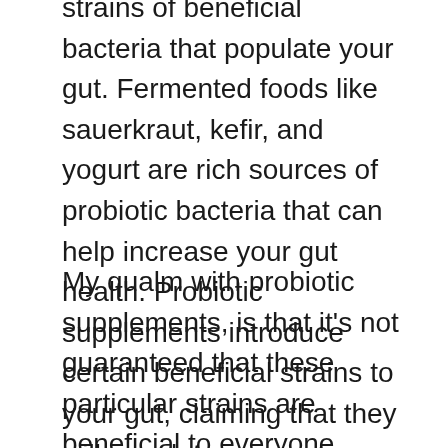strains of beneficial bacteria that populate your gut. Fermented foods like sauerkraut, kefir, and yogurt are rich sources of probiotic bacteria that can help increase your gut health. Probiotic supplements introduce certain beneficial strains to your gut, claiming that they will populate your gut.
My qualm with probiotic supplements, is that it's not guaranteed that these particular strains are beneficial to everyone. Certain strains may be good for one person, but not for someone else. Moreover, how do we know what